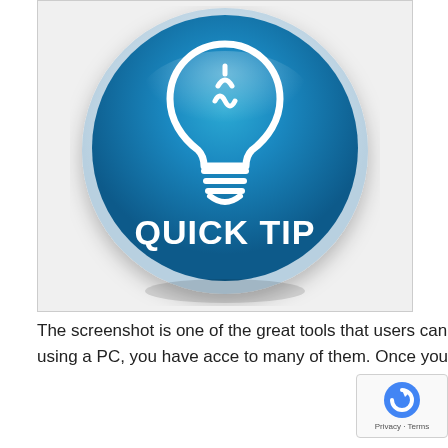[Figure (illustration): A blue glossy circular button with a white lightbulb icon and the bold white text 'QUICK TIP' in the center, on a light grey/white background.]
The screenshot is one of the great tools that users can use to capture information in their browsers. If you are using a PC, you have acce to many of them. Once you set one, you can